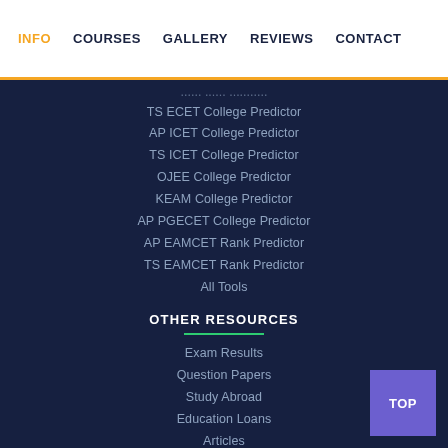INFO  COURSES  GALLERY  REVIEWS  CONTACT
TS ECET College Predictor
AP ICET College Predictor
TS ICET College Predictor
OJEE College Predictor
KEAM College Predictor
AP PGECET College Predictor
AP EAMCET Rank Predictor
TS EAMCET Rank Predictor
All Tools
OTHER RESOURCES
Exam Results
Question Papers
Study Abroad
Education Loans
Articles
News
SUBSCRIBE OUR NEWS LETTER